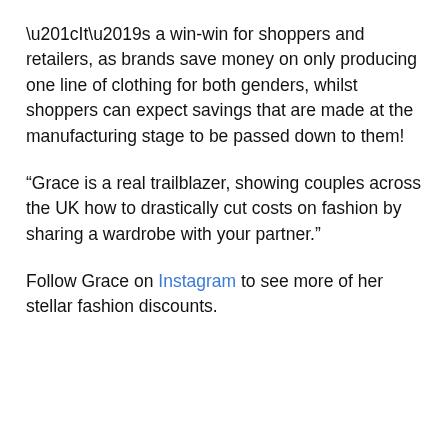“It’s a win-win for shoppers and retailers, as brands save money on only producing one line of clothing for both genders, whilst shoppers can expect savings that are made at the manufacturing stage to be passed down to them!
“Grace is a real trailblazer, showing couples across the UK how to drastically cut costs on fashion by sharing a wardrobe with your partner.”
Follow Grace on Instagram to see more of her stellar fashion discounts.